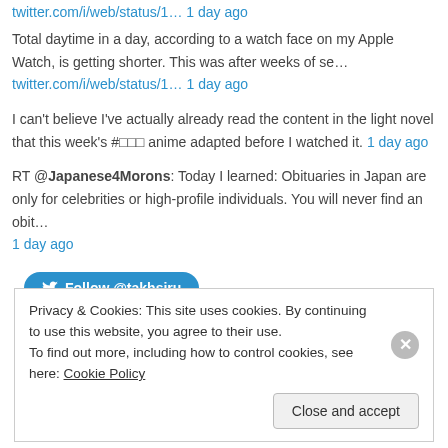twitter.com/i/web/status/1… 1 day ago
Total daytime in a day, according to a watch face on my Apple Watch, is getting shorter. This was after weeks of se… twitter.com/i/web/status/1… 1 day ago
I can't believe I've actually already read the content in the light novel that this week's #□□□ anime adapted before I watched it. 1 day ago
RT @Japanese4Morons: Today I learned: Obituaries in Japan are only for celebrities or high-profile individuals. You will never find an obit… 1 day ago
[Figure (other): Follow @takhsiru button (Twitter/X blue pill button)]
Privacy & Cookies: This site uses cookies. By continuing to use this website, you agree to their use. To find out more, including how to control cookies, see here: Cookie Policy. Close and accept.